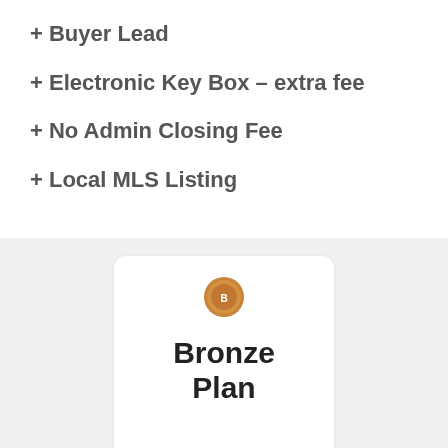+ Buyer Lead
+ Electronic Key Box – extra fee
+ No Admin Closing Fee
+ Local MLS Listing
[Figure (illustration): Bronze Plan card with a bronze medal icon and bold text reading 'Bronze Plan']